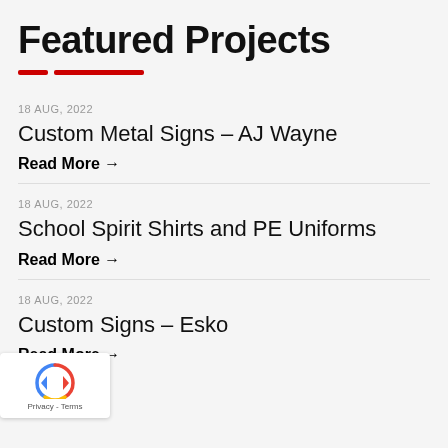Featured Projects
18 AUG, 2022
Custom Metal Signs – AJ Wayne
Read More →
18 AUG, 2022
School Spirit Shirts and PE Uniforms
Read More →
18 AUG, 2022
Custom Signs – Esko
Read More →